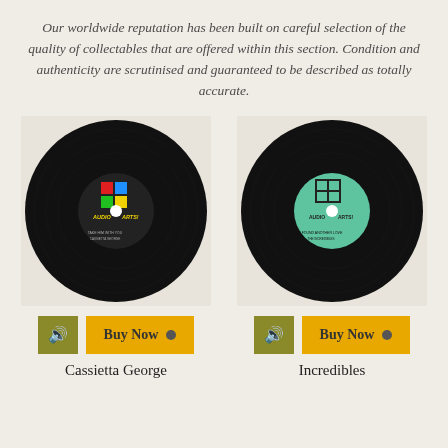Our worldwide reputation has been built on careful selection of the quality of collectables that are offered within this section. Condition and authenticity are scrutinised and guaranteed to be described as totally accurate.
[Figure (photo): Vinyl record with Audio Arts label showing 'Take Him With You' by Cassietta George, colorful label with red, blue, green, yellow squares]
[Figure (photo): Vinyl record with Audio Arts green label showing 'I Found Another Love' by The Incredibles, grid window design on label]
Cassietta George
Incredibles